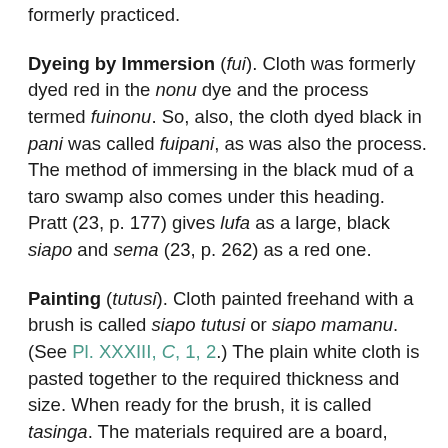formerly practiced.
Dyeing by Immersion (fui). Cloth was formerly dyed red in the nonu dye and the process termed fuinonu. So, also, the cloth dyed black in pani was called fuipani, as was also the process. The method of immersing in the black mud of a taro swamp also comes under this heading. Pratt (23, p. 177) gives lufa as a large, black siapo and sema (23, p. 262) as a red one.
Painting (tutusi). Cloth painted freehand with a brush is called siapo tutusi or siapo mamanu. (See Pl. XXXIII, C, 1, 2.) The plain white cloth is pasted together to the required thickness and size. When ready for the brush, it is called tasinga. The materials required are a board, dyes, dye